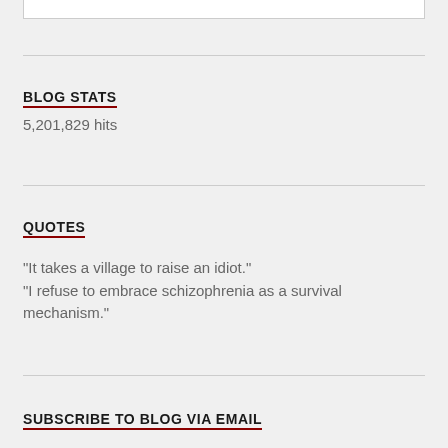BLOG STATS
5,201,829 hits
QUOTES
"It takes a village to raise an idiot." "I refuse to embrace schizophrenia as a survival mechanism."
SUBSCRIBE TO BLOG VIA EMAIL